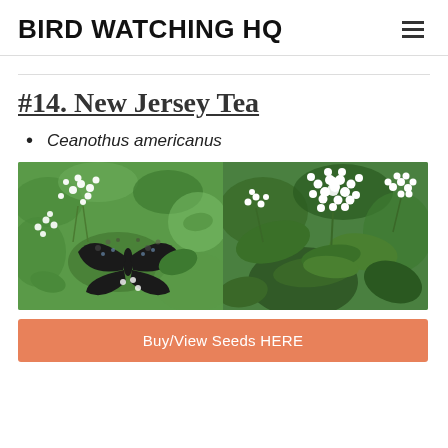BIRD WATCHING HQ
#14. New Jersey Tea
Ceanothus americanus
[Figure (photo): Two side-by-side photos of New Jersey Tea (Ceanothus americanus): left photo shows white flower clusters with a dark butterfly perched on them against a green background; right photo shows a larger cluster of white flowers with green leaves.]
Buy/View Seeds HERE